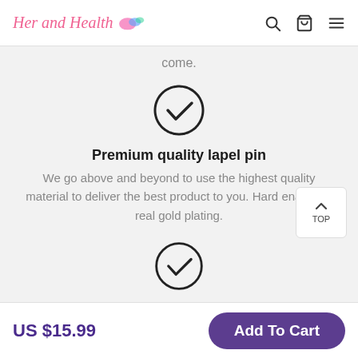Her and Health [logo] [search icon] [cart icon] [menu icon]
come.
[Figure (illustration): Circle with a checkmark inside, hand-drawn style outline]
Premium quality lapel pin
We go above and beyond to use the highest quality material to deliver the best product to you. Hard enamel & real gold plating.
[Figure (illustration): Circle with a checkmark inside, hand-drawn style outline]
Perfect size
US $15.99
Add To Cart